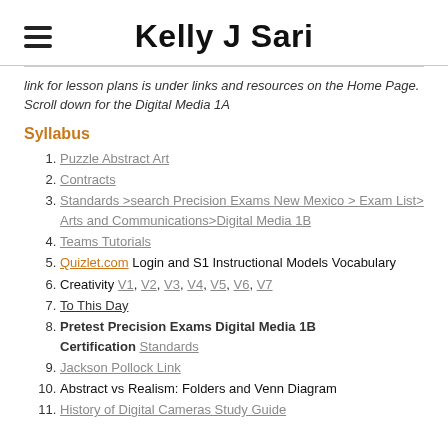Kelly J Sari
link for lesson plans is under links and resources on the Home Page. Scroll down for the Digital Media 1A
Syllabus
1. Puzzle Abstract Art
2. Contracts
3. Standards >search Precision Exams New Mexico > Exam List> Arts and Communications>Digital Media 1B
4. Teams Tutorials
5. Quizlet.com Login and S1 Instructional Models Vocabulary
6. Creativity V1, V2, V3, V4, V5, V6, V7
7. To This Day
8. Pretest Precision Exams Digital Media 1B Certification Standards
9. Jackson Pollock Link
10. Abstract vs Realism: Folders and Venn Diagram
11. History of Digital Cameras Study Guide